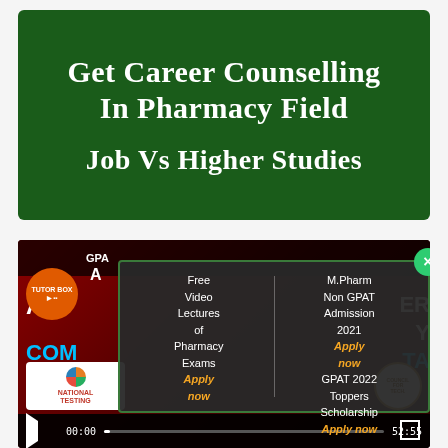[Figure (screenshot): Green banner with white bold text reading 'Get Career Counselling In Pharmacy Field' and 'Job Vs Higher Studies']
[Figure (screenshot): Video player screenshot showing pharmacy exam content with a popup overlay. Popup contains two columns: left column shows 'Free Video Lectures of Pharmacy Exams Apply now' and right column shows 'M.Pharm Non GPAT Admission 2021 Apply now GPAT 2022 Toppers Scholarship Apply now'. Green close button in top right of popup. Bottom shows National Testing logo, video controls with 00:00 timestamp and 52:55 duration.]